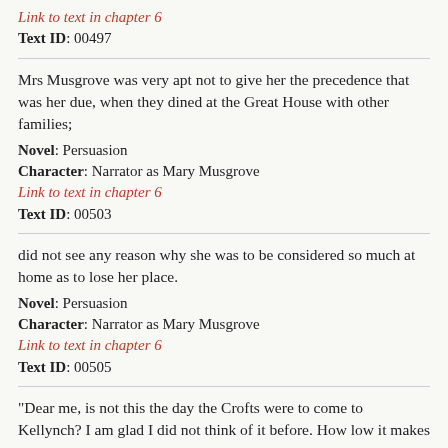Link to text in chapter 6
Text ID: 00497
Mrs Musgrove was very apt not to give her the precedence that was her due, when they dined at the Great House with other families;
Novel: Persuasion
Character: Narrator as Mary Musgrove
Link to text in chapter 6
Text ID: 00503
did not see any reason why she was to be considered so much at home as to lose her place.
Novel: Persuasion
Character: Narrator as Mary Musgrove
Link to text in chapter 6
Text ID: 00505
"Dear me, is not this the day the Crofts were to come to Kellynch? I am glad I did not think of it before. How low it makes me!"